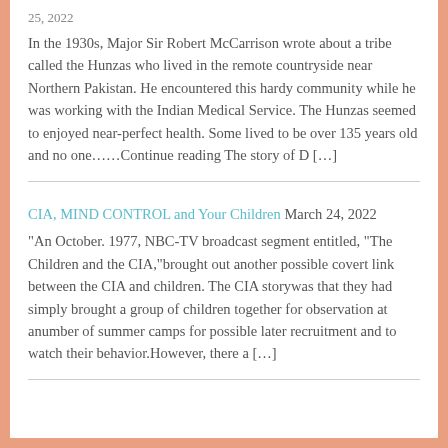25, 2022
In the 1930s, Major Sir Robert McCarrison wrote about a tribe called the Hunzas who lived in the remote countryside near Northern Pakistan. He encountered this hardy community while he was working with the Indian Medical Service. The Hunzas seemed to enjoyed near-perfect health. Some lived to be over 135 years old and no one…… Continue reading The story of D […]
CIA, MIND CONTROL and Your Children March 24, 2022
"An October. 1977, NBC-TV broadcast segment entitled, "The Children and the CIA,"brought out another possible covert link between the CIA and children. The CIA storywas that they had simply brought a group of children together for observation at anumber of summer camps for possible later recruitment and to watch their behavior.However, there a […]